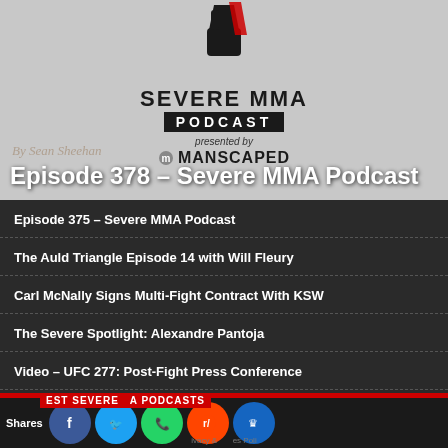[Figure (logo): Severe MMA Podcast logo with fist graphic and Manscaped sponsorship]
By Sean Sheehan
Episode 378 – Severe MMA Podcast
Episode 375 – Severe MMA Podcast
The Auld Triangle Episode 14 with Will Fleury
Carl McNally Signs Multi-Fight Contract With KSW
The Severe Spotlight: Alexandre Pantoja
Video – UFC 277: Post-Fight Press Conference
Episode 374 – Severe MMA Podcast
Shares
Privacy & Cookies Policy